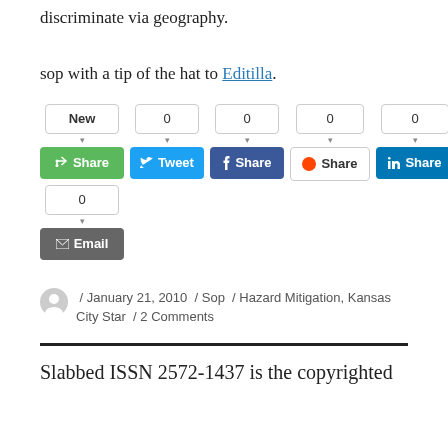discriminate via geography.
sop with a tip of the hat to Editilla.
[Figure (screenshot): Social share buttons row: New button with count 0, Tweet with count 0, Share (Facebook) with count 0, Share (Reddit) with count 0, Share (LinkedIn) with count 0. Below: Email button with count 0.]
/ January 21, 2010 / Sop / Hazard Mitigation, Kansas City Star / 2 Comments
Slabbed ISSN 2572-1437 is the copyrighted